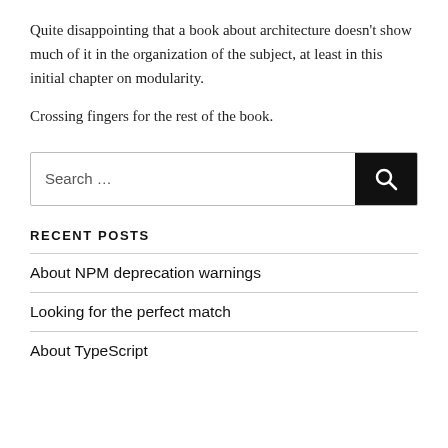Quite disappointing that a book about architecture doesn't show much of it in the organization of the subject, at least in this initial chapter on modularity.
Crossing fingers for the rest of the book.
Search …
RECENT POSTS
About NPM deprecation warnings
Looking for the perfect match
About TypeScript